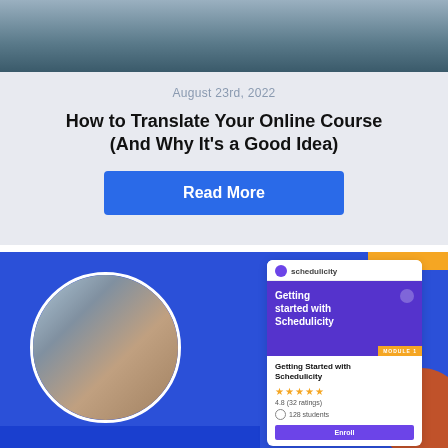[Figure (photo): Hands typing on a laptop keyboard, top portion of image cropped]
August 23rd, 2022
How to Translate Your Online Course (And Why It's a Good Idea)
Read More
[Figure (screenshot): Schedulicity course platform screenshot showing 'Getting Started with Schedulicity' course card with 4.8 rating, 32 ratings, 128 students, and Enroll button, overlaid on a blue background with a circular photo of two people and orange accent shapes]